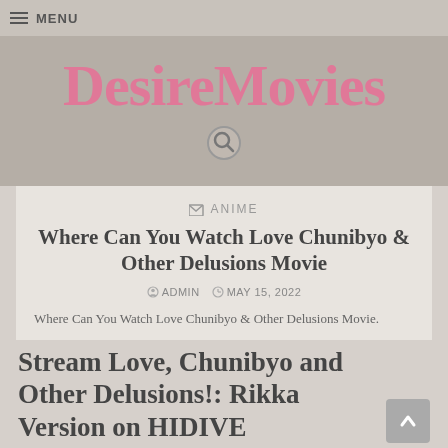MENU
[Figure (logo): DesireMovies logo in pink/rose cursive bold text on gray background, with a search icon below]
ANIME
Where Can You Watch Love Chunibyo & Other Delusions Movie
ADMIN  MAY 15, 2022
Where Can You Watch Love Chunibyo & Other Delusions Movie.
Stream Love, Chunibyo and Other Delusions!: Rikka Version on HIDIVE